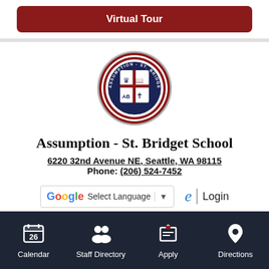[Figure (other): Virtual Tour button — dark red/maroon rounded rectangle with white bold text 'Virtual Tour']
[Figure (logo): Assumption-St. Bridget School circular seal/crest with four-quadrant shield, founded 1947, in blue and red colors]
Assumption - St. Bridget School
6220 32nd Avenue NE, Seattle, WA 98115
Phone: (206) 524-7452
[Figure (screenshot): Google Translate widget and Edlio Login button side by side]
Calendar | Staff Directory | Apply | Directions